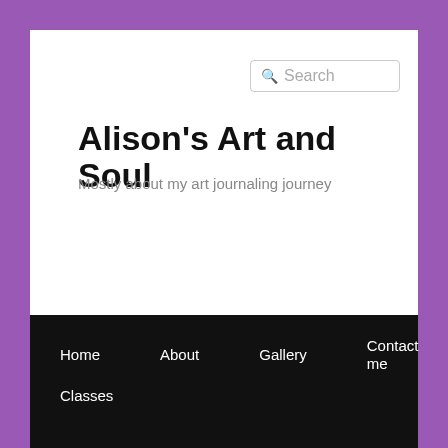[Figure (screenshot): Search input box with magnifying glass icon and placeholder text 'Search']
Alison's Art and Soul
Mostly about my art journaling journey
Home
About
Gallery
Contact me
Classes
← Previous   Next →